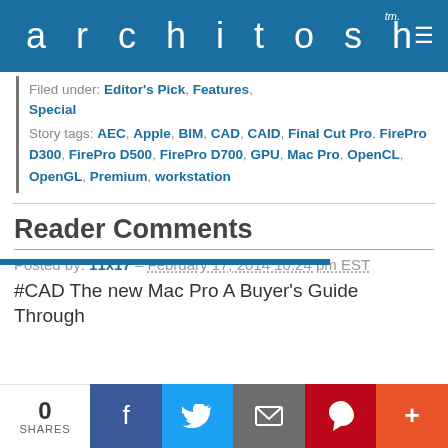architosh™
Filed under: Editor's Pick, Features, Special
Story tags: AEC, Apple, BIM, CAD, CAID, Final Cut Pro, FirePro D300, FirePro D500, FirePro D700, GPU, Mac Pro, OpenCL, OpenGL, Premium, workstation
Reader Comments
Posted by: 11x17 – February 17, 2014 10:24 pm EST
#CAD The new Mac Pro A Buyer's Guide Through